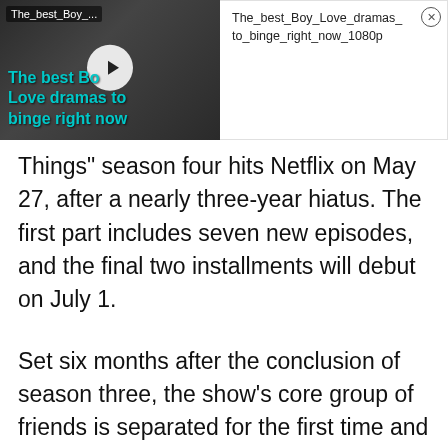[Figure (screenshot): Video thumbnail showing two people close together with a play button overlay. Text overlay reads 'The best Boy Love dramas to binge right now' in teal. Filename bar reads 'The_best_Boy_...'.]
The_best_Boy_Love_dramas_to_binge_right_now_1080p
Things” season four hits Netflix on May 27, after a nearly three-year hiatus. The first part includes seven new episodes, and the final two installments will debut on July 1.
Set six months after the conclusion of season three, the show’s core group of friends is separated for the first time and about to start high school. When a new supernatural threat makes itself known, the gang discovers they may